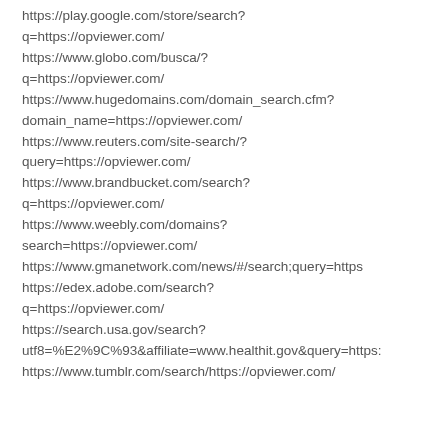https://play.google.com/store/search?q=https://opviewer.com/
https://www.globo.com/busca/?q=https://opviewer.com/
https://www.hugedomains.com/domain_search.cfm?domain_name=https://opviewer.com/
https://www.reuters.com/site-search/?query=https://opviewer.com/
https://www.brandbucket.com/search?q=https://opviewer.com/
https://www.weebly.com/domains?search=https://opviewer.com/
https://www.gmanetwork.com/news/#/search;query=https
https://edex.adobe.com/search?q=https://opviewer.com/
https://search.usa.gov/search?utf8=%E2%9C%93&affiliate=www.healthit.gov&query=https:
https://www.tumblr.com/search/https://opviewer.com/